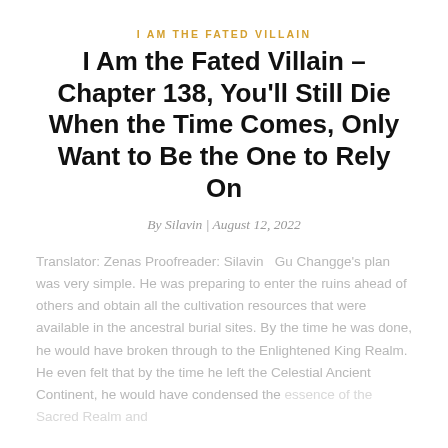I AM THE FATED VILLAIN
I Am the Fated Villain – Chapter 138, You'll Still Die When the Time Comes, Only Want to Be the One to Rely On
By Silavin | August 12, 2022
Translator: Zenas Proofreader: Silavin   Gu Changge's plan was very simple. He was preparing to enter the ruins ahead of others and obtain all the cultivation resources that were available in the ancestral burial sites. By the time he was done, he would have broken through to the Enlightened King Realm. He even felt that by the time he left the Celestial Ancient Continent, he would have condensed the essence of the Sacred Realm and…